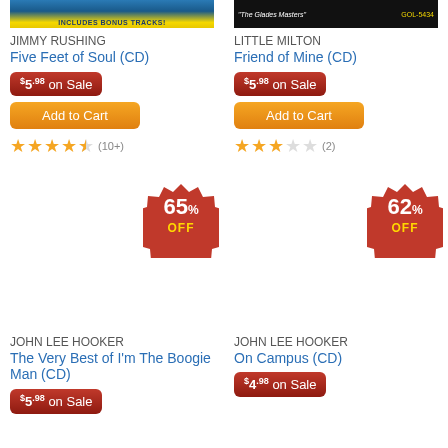[Figure (photo): Album cover for Jimmy Rushing Five Feet of Soul - blue and yellow design with text INCLUDES BONUS TRACKS!]
JIMMY RUSHING
Five Feet of Soul (CD)
$5.98 on Sale
Add to Cart
(10+)
[Figure (photo): Album cover for Little Milton Friend of Mine - The Glades Masters, dark background with catalog number GOL-5434]
LITTLE MILTON
Friend of Mine (CD)
$5.98 on Sale
Add to Cart
(2)
[Figure (infographic): 65% OFF discount starburst badge in red]
[Figure (infographic): 62% OFF discount starburst badge in red]
JOHN LEE HOOKER
The Very Best of I'm The Boogie Man (CD)
$5.98 on Sale
JOHN LEE HOOKER
On Campus (CD)
$4.98 on Sale